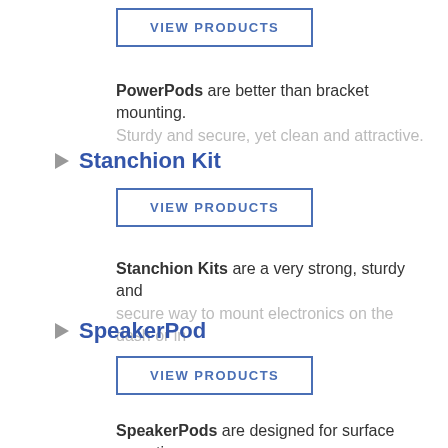VIEW PRODUCTS (button for PowerPods)
PowerPods are better than bracket mounting. Sturdy and secure, yet clean and attractive.
Stanchion Kit
VIEW PRODUCTS (button for Stanchion Kit)
Stanchion Kits are a very strong, sturdy and secure way to mount electronics on the dash or in
SpeakerPod
VIEW PRODUCTS (button for SpeakerPod)
SpeakerPods are designed for surface mounting your Bose 151 speakers under sternrail seats.
Wrench Kit